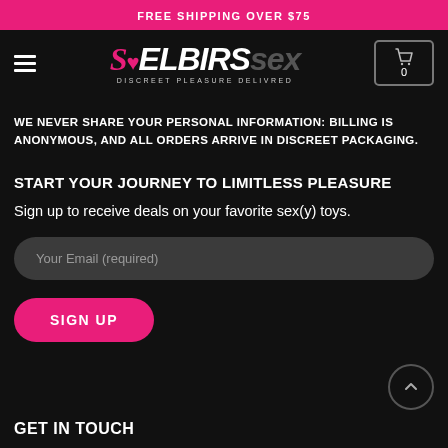FREE SHIPPING OVER $75
[Figure (logo): SELBIRS sex logo with tagline DISCREET PLEASURE DELIVRED and hamburger menu and cart icon showing 0]
WE NEVER SHARE YOUR PERSONAL INFORMATION: BILLING IS ANONYMOUS, AND ALL ORDERS ARRIVE IN DISCREET PACKAGING.
START YOUR JOURNEY TO LIMITLESS PLEASURE
Sign up to receive deals on your favorite sex(y) toys.
Your Email (required)
SIGN UP
GET IN TOUCH